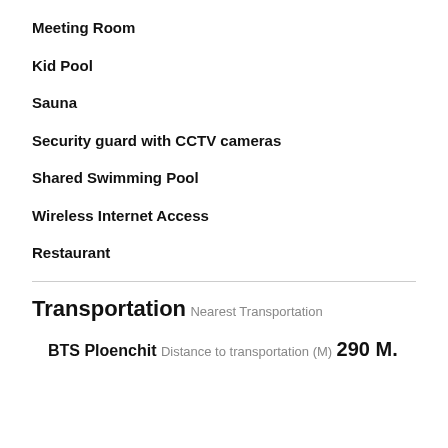Meeting Room
Kid Pool
Sauna
Security guard with CCTV cameras
Shared Swimming Pool
Wireless Internet Access
Restaurant
Transportation
Nearest Transportation
BTS Ploenchit
Distance to transportation (M)
290 M.